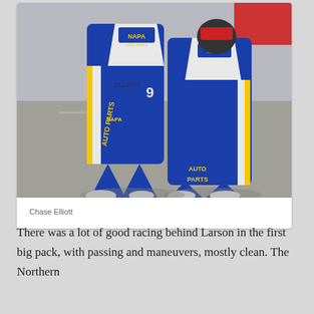[Figure (photo): Two people in blue and white NAPA Auto Parts racing suits standing on pavement. The suit on the left reads 'ELLIOTT' and '9'. Both suits are predominantly blue with yellow NAPA branding.]
Chase Elliott
There was a lot of good racing behind Larson in the first big pack, with passing and maneuvers, mostly clean. The Northern